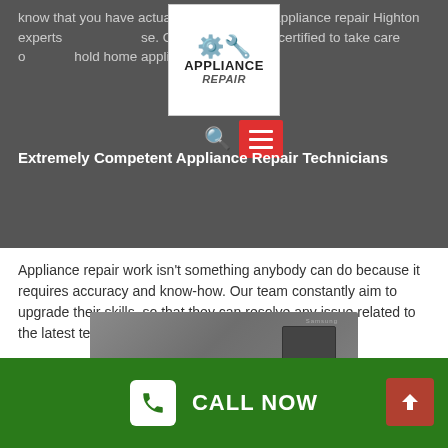know that you have actually hired the best appliance repair Highton experts use. Our specialists are certified to take care of household home appliance.
[Figure (logo): Appliance Repair logo with wrench icons and text 'APPLIANCE Repair']
Extremely Competent Appliance Repair Technicians
[Figure (other): Navigation icons: search magnifying glass and red hamburger menu button]
Appliance repair work isn't something anybody can do because it requires accuracy and know-how. Our team constantly aim to upgrade their skills, so that they can resolve any issue related to the latest technologies from touchscreens to sensors.
[Figure (photo): Close-up photograph of a grey appliance panel with a dark control panel detail in the upper right corner]
CALL NOW